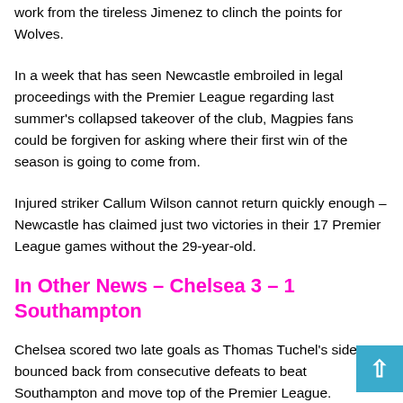work from the tireless Jimenez to clinch the points for Wolves.
In a week that has seen Newcastle embroiled in legal proceedings with the Premier League regarding last summer's collapsed takeover of the club, Magpies fans could be forgiven for asking where their first win of the season is going to come from.
Injured striker Callum Wilson cannot return quickly enough – Newcastle has claimed just two victories in their 17 Premier League games without the 29-year-old.
In Other News – Chelsea 3 – 1 Southampton
Chelsea scored two late goals as Thomas Tuchel's side bounced back from consecutive defeats to beat Southampton and move top of the Premier League.